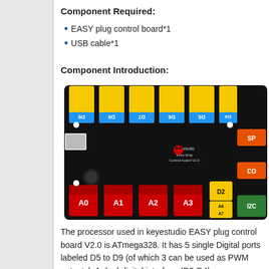Component Required:
EASY plug control board*1
USB cable*1
Component Introduction:
[Figure (photo): Keyestudio Easy-plug Control Board V2.0 showing yellow digital ports (D4-D9), red analog ports (A0-A3), orange SPI and COM ports, green I2C port, and a white connector on the left side.]
The processor used in keyestudio EASY plug control board V2.0 is ATmega328. It has 5 single Digital ports labeled D5 to D9 (of which 3 can be used as PWM outputs), 1 dual-digital interface (D3-D4),